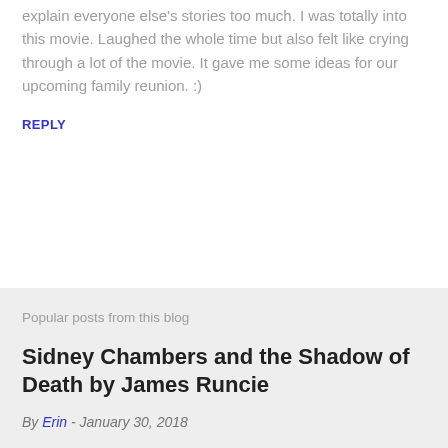everyone was thanked and they didn't try to explain everyone else's stories too much. I was totally into this movie. Laughed the whole time but also felt like crying through a lot of the movie. It gave me some ideas for our upcoming family reunion. :)
REPLY
Popular posts from this blog
Sidney Chambers and the Shadow of Death by James Runcie
By Erin - January 30, 2018